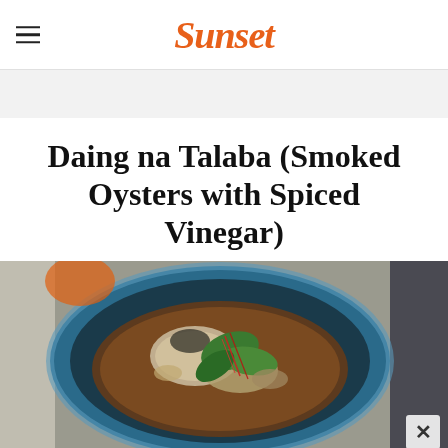Sunset
Daing na Talaba (Smoked Oysters with Spiced Vinegar)
[Figure (photo): Top-down photo of smoked oysters in a blue ceramic bowl with broth, leafy greens, and red garnish strands on a gray surface]